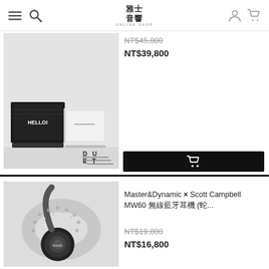雅士音響 ONLINE SHOP
NT$45,800 (strikethrough)
NT$39,800
[Figure (photo): Product photo of audio speakers, black and white units labeled HELLO!, with DUET branding in corner]
Master&Dynamic × Scott Campbell MW60 無線藍牙耳機 (蛇...)
NT$19,800 (strikethrough)
NT$16,800
[Figure (photo): Product photo of Master&Dynamic MW60 wireless headphones with snake motif design in black and white]